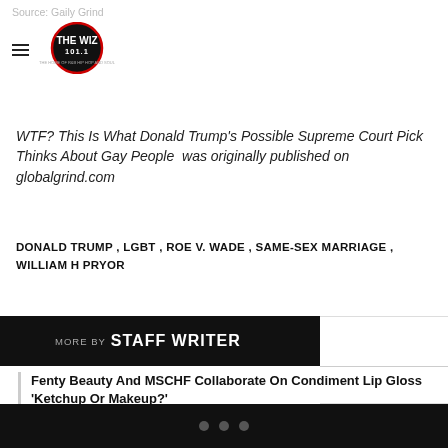Source: Gaily Grind
[Figure (logo): The Wiz 101.1 radio station logo — circular logo with THE WIZ 101.1 text]
WTF? This Is What Donald Trump's Possible Supreme Court Pick Thinks About Gay People  was originally published on globalgrind.com
DONALD TRUMP , LGBT , ROE V. WADE , SAME-SEX MARRIAGE , WILLIAM H PRYOR
MORE BY STAFF WRITER
Fenty Beauty And MSCHF Collaborate On Condiment Lip Gloss 'Ketchup Or Makeup?'
Lori Harvey Sizzles In A Casual Outfit During Night Out In West Hollywood